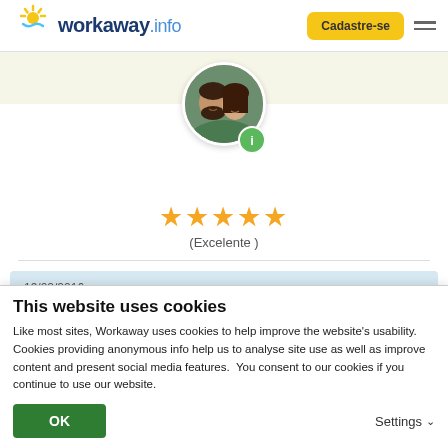workaway.info | Cadastre-se
[Figure (photo): Circular profile photo of a couple (man and woman) with green info badge overlay]
[Figure (infographic): Five gold stars rating]
(Excelente )
19/02/2016
Feito pelo anfitrião para o Workawayer (Camille)
This website uses cookies
Like most sites, Workaway uses cookies to help improve the website's usability. Cookies providing anonymous info help us to analyse site use as well as improve content and present social media features.  You consent to our cookies if you continue to use our website.
OK
Settings